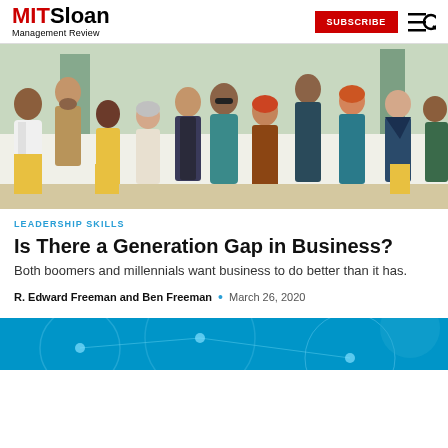MIT Sloan Management Review | SUBSCRIBE
[Figure (illustration): Colorful flat illustration of a diverse group of people of different ages, genders, and ethnicities standing together, representing multiple generations in the workplace.]
LEADERSHIP SKILLS
Is There a Generation Gap in Business?
Both boomers and millennials want business to do better than it has.
R. Edward Freeman and Ben Freeman  •  March 26, 2020
[Figure (illustration): Bottom portion of a blue technology-themed illustration, partially visible at the bottom of the page.]